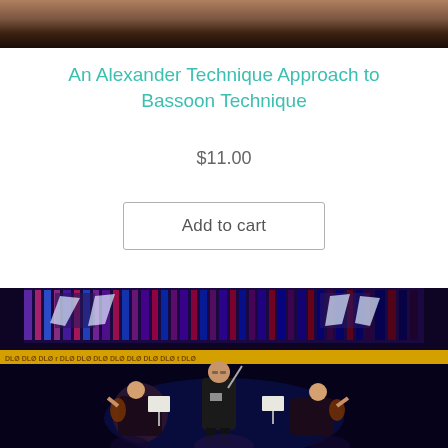[Figure (photo): Partial top view of a person or scene, cropped at top of page, dark brownish tones]
An Alexander Technique Approach to Bassoon Technique
$11.00
Add to cart
[Figure (photo): Orchestra conductor with baton standing in front of musicians playing violins, with a colorful LED/video screen backdrop and DLD banners visible]